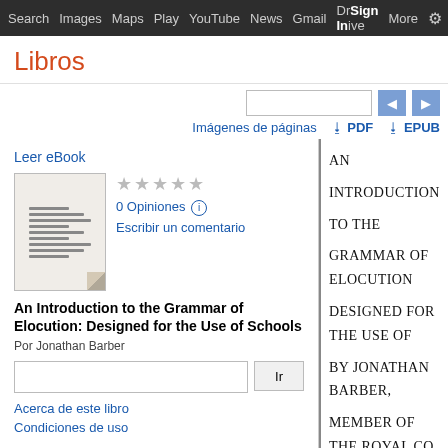Search  Images  Maps  Play  YouTube  News  Gmail  Drive  More  Sign In  ⚙
Libros
Imágenes de páginas  PDF  EPUB
Leer eBook
0 Opiniones  Escribir un comentario
An Introduction to the Grammar of Elocution: Designed for the Use of Schools
Por Jonathan Barber
Ir
Acerca de este libro
Condiciones de uso
AN

INTRODUCTION

TO THE

GRAMMAR OF ELOCUTION

DESIGNED FOR THE USE OF

BY JONATHAN BARBER,

MEMBER OF THE ROYAL CO
LATE INSTRUCTER IN ELOC